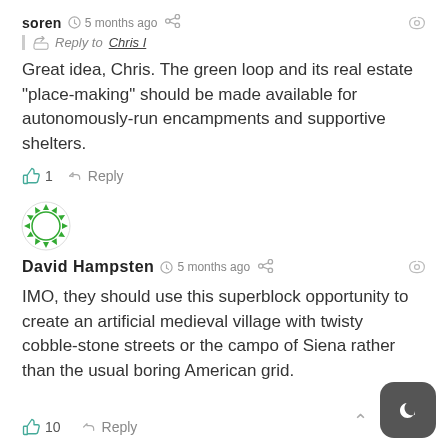soren · 5 months ago
Reply to Chris I
Great idea, Chris. The green loop and its real estate “place-making” should be made available for autonomously-run encampments and supportive shelters.
1 Reply
[Figure (illustration): Green circular avatar/logo with spiky border for David Hampsten]
David Hampsten · 5 months ago
IMO, they should use this superblock opportunity to create an artificial medieval village with twisty cobble-stone streets or the campo of Siena rather than the usual boring American grid.
10 Reply